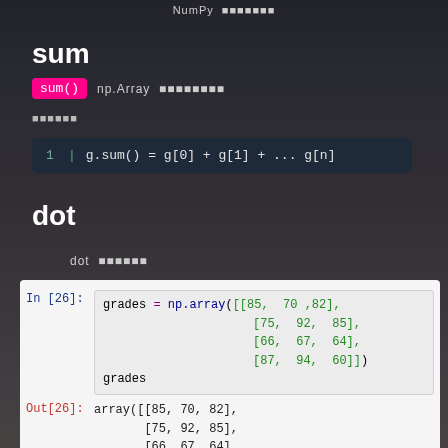NumPy
sum
sum()   np.Array
dot
dot
In [26]: grades = np.array([[85, 70 ,82],
                           [75, 92, 85],
                           [66, 67, 64],
                           [87, 94, 60]])
grades
Out[26]: array([[85, 70, 82],
        [75, 92, 85],
        [66, 67, 64],
        [87, 94, 60]])